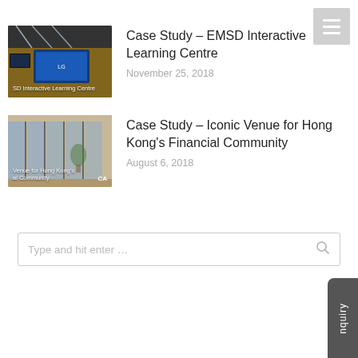[Figure (photo): Thumbnail image of EMSD Interactive Learning Centre showing screens and modern interior]
Case Study – EMSD Interactive Learning Centre
November 25, 2018
[Figure (photo): Thumbnail image of Iconic Venue for Hong Kong's Financial Community showing glass partitions and modern office space]
Case Study – Iconic Venue for Hong Kong's Financial Community
August 6, 2018
Type and hit enter ...